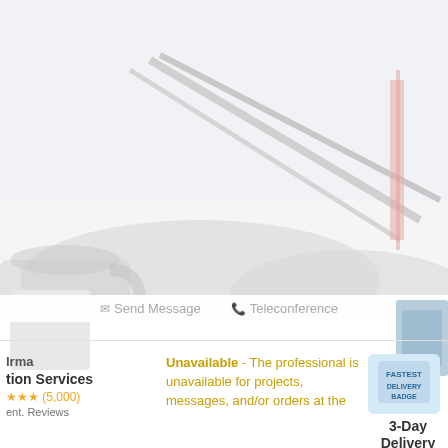[Figure (photo): Faded/washed-out background photo showing the Golden Gate Bridge and rocky landscape with a coffee cup silhouette partially visible on the left side.]
Send Message    Teleconference
Irma
tion Services
★★★ (5,000)
ent. Reviews
Unavailable - The professional is unavailable for projects, messages, and/or orders at the
3-Day Delivery